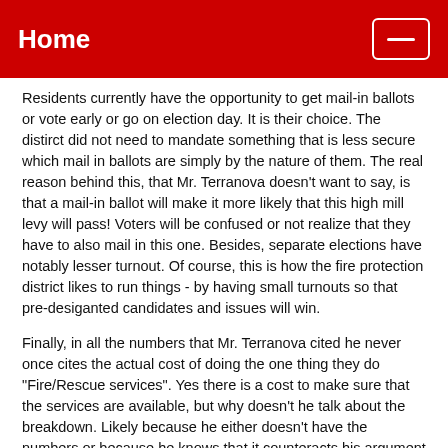Home
Residents currently have the opportunity to get mail-in ballots or vote early or go on election day. It is their choice. The distirct did not need to mandate something that is less secure which mail in ballots are simply by the nature of them. The real reason behind this, that Mr. Terranova doesn't want to say, is that a mail-in ballot will make it more likely that this high mill levy will pass! Voters will be confused or not realize that they have to also mail in this one. Besides, separate elections have notably lesser turnout. Of course, this is how the fire protection district likes to run things - by having small turnouts so that pre-desiganted candidates and issues will win.
Finally, in all the numbers that Mr. Terranova cited he never once cites the actual cost of doing the one thing they do "Fire/Rescue services". Yes there is a cost to make sure that the services are available, but why doesn't he talk about the breakdown. Likely because he either doesn't have the numbers or because he knows that it counteracts his argument and proves that the increase is mostly for unneeded administrative costs. Of course, what do you expect from someone who cannot figure out that 55.1688% of 9.48